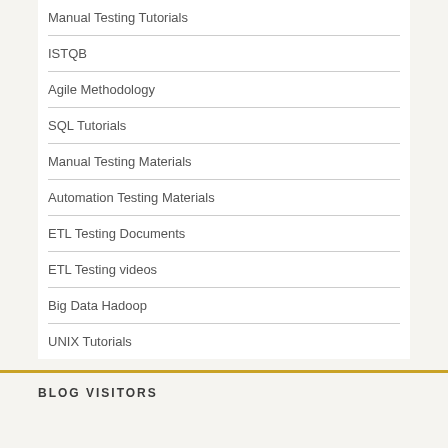Manual Testing Tutorials
ISTQB
Agile Methodology
SQL Tutorials
Manual Testing Materials
Automation Testing Materials
ETL Testing Documents
ETL Testing videos
Big Data Hadoop
UNIX Tutorials
BLOG VISITORS